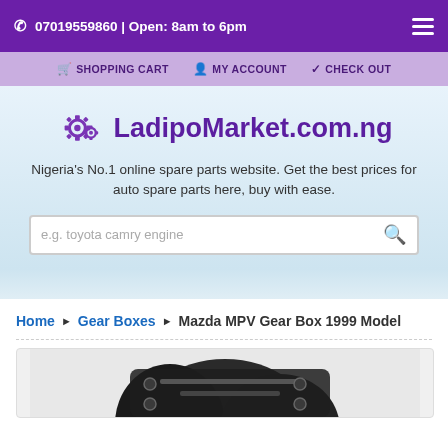07019559860 | Open: 8am to 6pm
SHOPPING CART  MY ACCOUNT  CHECK OUT
LadipoMarket.com.ng
Nigeria's No.1 online spare parts website. Get the best prices for auto spare parts here, buy with ease.
e.g. toyota camry engine
Home ▶ Gear Boxes ▶ Mazda MPV Gear Box 1999 Model
[Figure (photo): Partial view of a Mazda MPV Gear Box product image, showing dark mechanical components]